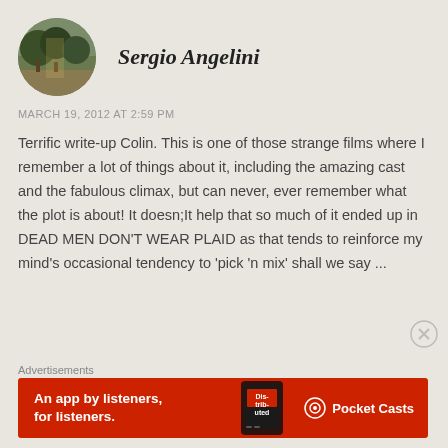Sergio Angelini
MARCH 19, 2012 AT 2:59 PM
Terrific write-up Colin. This is one of those strange films where I remember a lot of things about it, including the amazing cast and the fabulous climax, but can never, ever remember what the plot is about! It doesn;It help that so much of it ended up in DEAD MEN DON'T WEAR PLAID as that tends to reinforce my mind's occasional tendency to 'pick 'n mix' shall we say ...
Advertisements
[Figure (screenshot): Pocket Casts advertisement banner: red background, white bold text 'An app by listeners, for listeners.' with a phone showing 'Distributed' book/app and Pocket Casts logo on the right.]